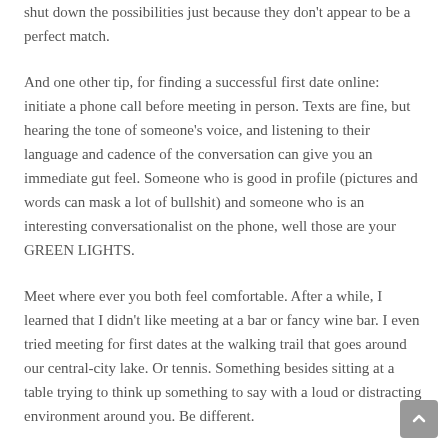shut down the possibilities just because they don't appear to be a perfect match.
And one other tip, for finding a successful first date online: initiate a phone call before meeting in person. Texts are fine, but hearing the tone of someone's voice, and listening to their language and cadence of the conversation can give you an immediate gut feel. Someone who is good in profile (pictures and words can mask a lot of bullshit) and someone who is an interesting conversationalist on the phone, well those are your GREEN LIGHTS.
Meet where ever you both feel comfortable. After a while, I learned that I didn't like meeting at a bar or fancy wine bar. I even tried meeting for first dates at the walking trail that goes around our central-city lake. Or tennis. Something besides sitting at a table trying to think up something to say with a loud or distracting environment around you. Be different.